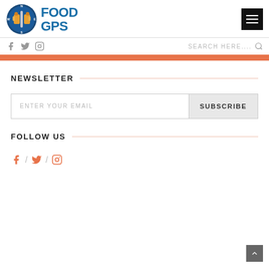[Figure (logo): Food GPS logo with circular compass/fork-knife design and blue FOOD GPS text]
[Figure (other): Hamburger menu button (black square with three white lines)]
[Figure (other): Social media icons: Facebook, Twitter, Instagram in gray]
SEARCH HERE....
NEWSLETTER
ENTER YOUR EMAIL
SUBSCRIBE
FOLLOW US
[Figure (other): Social media icons: Facebook, Twitter, Instagram in orange]